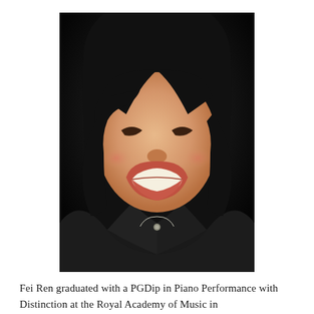[Figure (photo): Portrait photograph of Fei Ren, a smiling woman with dark hair, wearing a dark jacket and a small pendant necklace, photographed against a dark background.]
Fei Ren graduated with a PGDip in Piano Performance with Distinction at the Royal Academy of Music in